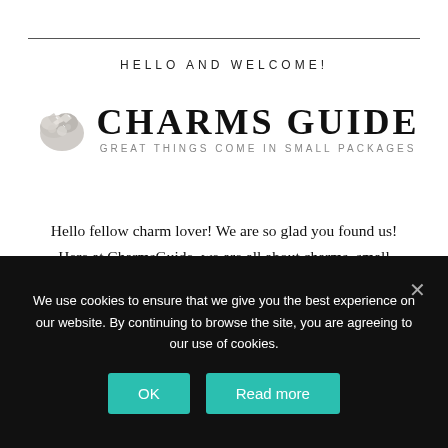HELLO AND WELCOME!
[Figure (logo): Charms Guide logo with decorative charm jewelry image on left, large serif text 'CHARMS GUIDE' and subtitle 'GREAT THINGS COME IN SMALL PACKAGES']
Hello fellow charm lover! We are so glad you found us! Here at CharmsGuide, we are all about charms, small pendants, and charm bracelets. There is something so exquisite about tiny things – to us, less truly is more!
We use cookies to ensure that we give you the best experience on our website. By continuing to browse the site, you are agreeing to our use of cookies.